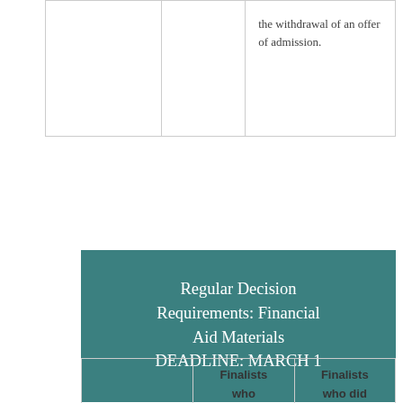|  |  |  |
| --- | --- | --- |
|  |  | the withdrawal of an offer of admission. |
Regular Decision Requirements: Financial Aid Materials DEADLINE: MARCH 1
|  | Finalists who ranked | Finalists who did not rank |
| --- | --- | --- |